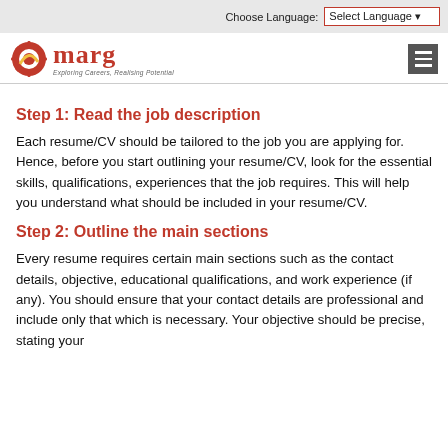Choose Language: Select Language
[Figure (logo): Marg logo with gear icon and tagline 'Exploring Careers, Realising Potential']
Step 1: Read the job description
Each resume/CV should be tailored to the job you are applying for. Hence, before you start outlining your resume/CV, look for the essential skills, qualifications, experiences that the job requires. This will help you understand what should be included in your resume/CV.
Step 2: Outline the main sections
Every resume requires certain main sections such as the contact details, objective, educational qualifications, and work experience (if any). You should ensure that your contact details are professional and include only that which is necessary. Your objective should be precise, stating your